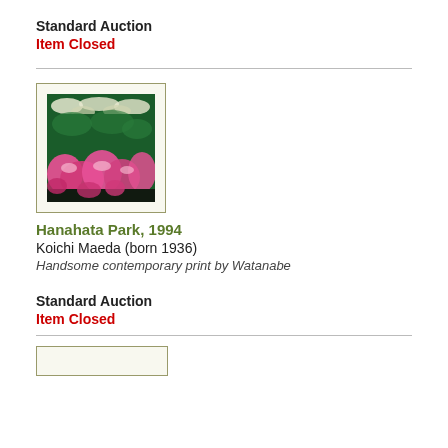Standard Auction
Item Closed
[Figure (illustration): Woodblock print artwork thumbnail showing Hanahata Park with pink flowers and green foliage]
Hanahata Park, 1994
Koichi Maeda (born 1936)
Handsome contemporary print by Watanabe
Standard Auction
Item Closed